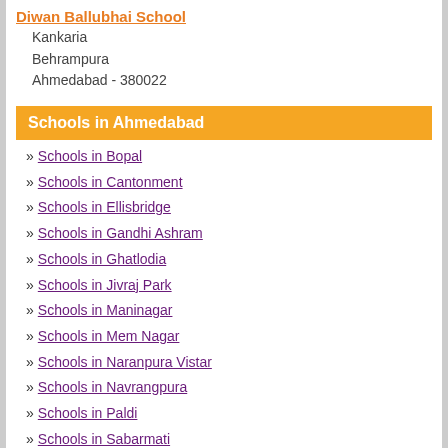Diwan Ballubhai School
Kankaria
Behrampura
Ahmedabad - 380022
Schools in Ahmedabad
» Schools in Bopal
» Schools in Cantonment
» Schools in Ellisbridge
» Schools in Gandhi Ashram
» Schools in Ghatlodia
» Schools in Jivraj Park
» Schools in Maninagar
» Schools in Mem Nagar
» Schools in Naranpura Vistar
» Schools in Navrangpura
» Schools in Paldi
» Schools in Sabarmati
» Schools in Satellite Road
» Schools in Shah Alam Roza
» Schools in Shahibaug
» Schools in Thaltej
» Schools in Thaltej Road